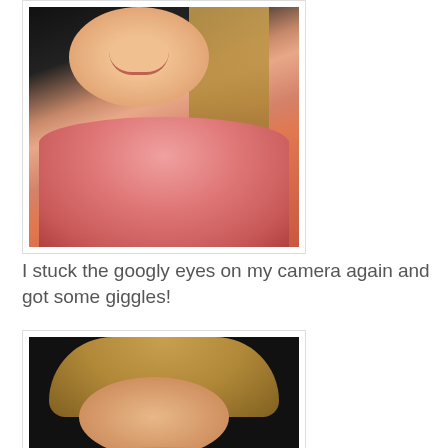[Figure (photo): Close-up portrait photo of a young girl laughing/smiling, wearing a pink long-sleeve shirt, with blonde hair, against a dark/black background]
I stuck the googly eyes on my camera again and got some giggles!
[Figure (photo): Portrait photo of a young girl with head slightly bowed/looking down, blonde hair visible from top, against a dark/black background, wearing a light pink shirt]